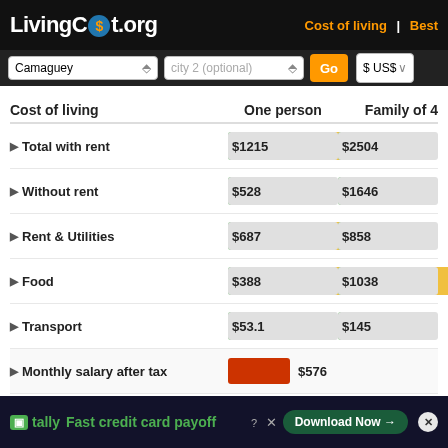LivingCost.org — Cost of living | Best
| Cost of living | One person | Family of 4 |
| --- | --- | --- |
| Total with rent | $1215 | $2504 |
| Without rent | $528 | $1646 |
| Rent & Utilities | $687 | $858 |
| Food | $388 | $1038 |
| Transport | $53.1 | $145 |
| Monthly salary after tax | $576 |  |
| Quality of life | 29 |  |
Fast credit card payoff — Tally — Download Now